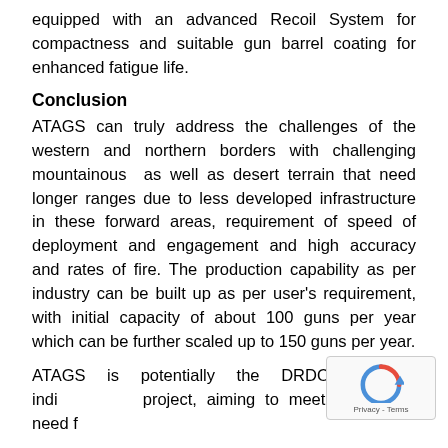equipped with an advanced Recoil System for compactness and suitable gun barrel coating for enhanced fatigue life.
Conclusion
ATAGS can truly address the challenges of the western and northern borders with challenging mountainous as well as desert terrain that need longer ranges due to less developed infrastructure in these forward areas, requirement of speed of deployment and engagement and high accuracy and rates of fire. The production capability as per industry can be built up as per user's requirement, with initial capacity of about 100 guns per year which can be further scaled up to 150 guns per year.
ATAGS is potentially the DRDO's biggest indi... project, aiming to meet the army's need for field...